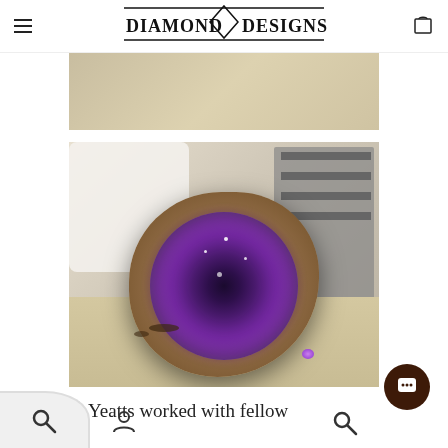DIAMOND DESIGNS
[Figure (photo): Partial view of a workshop surface, cropped top portion showing beige/tan background]
[Figure (photo): An amethyst geode specimen sitting on a workbench in a jewelry workshop. The geode shows deep purple and black crystals inside a brown rocky exterior. Workshop shelving and supplies visible in background.]
Yeatts worked with fellow